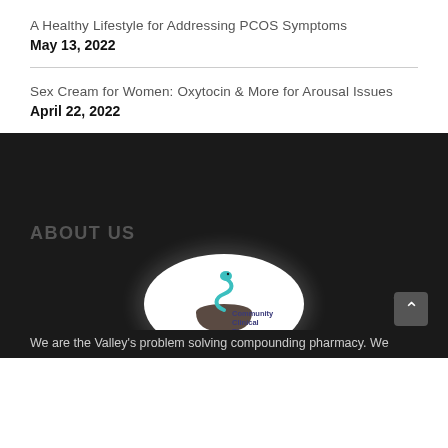A Healthy Lifestyle for Addressing PCOS Symptoms
May 13, 2022
Sex Cream for Women: Oxytocin & More for Arousal Issues
April 22, 2022
ABOUT US
[Figure (logo): Community Clinical Pharmacy logo — oval shape with teal border, bowl and serpent symbol, text reading Community Clinical Pharmacy]
We are the Valley's problem solving compounding pharmacy. We